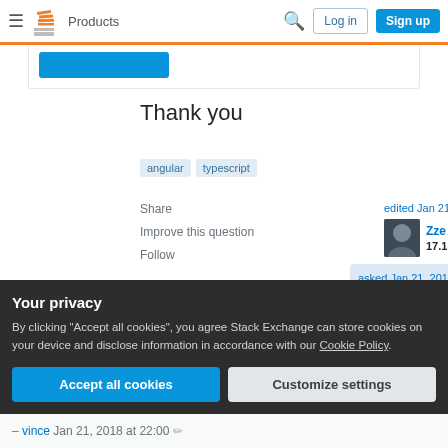≡  Products  🔍  Log in  Sign up
Thank you
angular
typescript
Share
Improve this question
Follow
edited Jan 21, 2018 at 22:13
Zze
17.1k ● 12 ● 80 ● 112
asked Jan 21, 2018 at 21:56
Your privacy
By clicking "Accept all cookies", you agree Stack Exchange can store cookies on your device and disclose information in accordance with our Cookie Policy.
Accept all cookies
Customize settings
– vince Jan 21, 2018 at 22:00